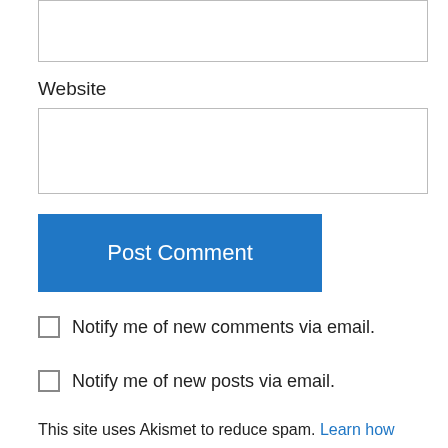[Figure (screenshot): Empty text input box at top of page (partially visible form field)]
Website
[Figure (screenshot): Website input text box]
[Figure (screenshot): Post Comment button (blue)]
Notify me of new comments via email.
Notify me of new posts via email.
This site uses Akismet to reduce spam. Learn how your comment data is processed.
Marilyn Armstrong on July 29, 2015 at 9:14 PM